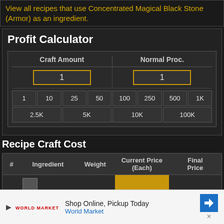View all recipes that use Concentrated Magical Black Stone (Armor) as an ingredient.
Profit Calculator
| Craft Amount | Normal Proc. |
| --- | --- |
| 1 | 1 |
1, 10, 25, 50, 100, 250, 500, 1K
2.5K, 5K, 10K, 100K
Recipe Craft Cost
| # | Ingredient | Weight | Current Price (Each) | Final Price |
| --- | --- | --- | --- | --- |
|  | Hard Black... |  |  | 1,420,000 |
Shop Online, Pickup Today World Market